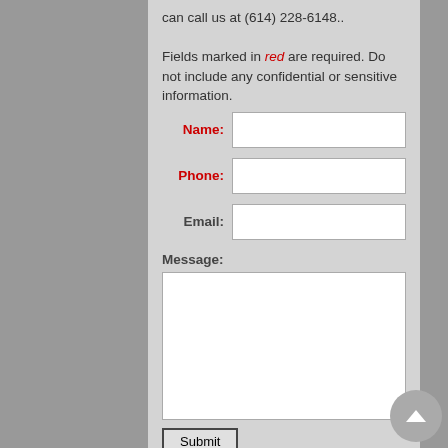can call us at (614) 228-6148..
Fields marked in red are required. Do not include any confidential or sensitive information.
Name: [input field]
Phone: [input field]
Email: [input field]
Message: [textarea]
Submit [button]